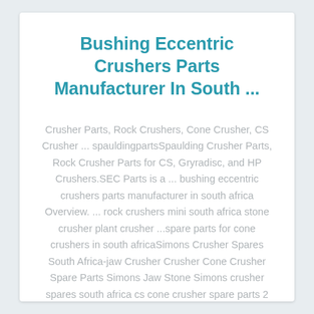Bushing Eccentric Crushers Parts Manufacturer In South ...
Crusher Parts, Rock Crushers, Cone Crusher, CS Crusher ... spauldingpartsSpaulding Crusher Parts, Rock Crusher Parts for CS, Gryradisc, and HP Crushers.SEC Parts is a ... bushing eccentric crushers parts manufacturer in south africa Overview. ... rock crushers mini south africa stone crusher plant crusher ...spare parts for cone crushers in south africaSimons Crusher Spares South Africa-jaw Crusher Crusher Cone Crusher Spare Parts Simons Jaw Stone Simons crusher spares south africa cs cone crusher spare parts 2 feb 28 2019 jaw crushers ads gumtree classifieds south africa crushing plant for sale 3042 jaw crusher 41 4 cone crusher cs barmag2 x 6 ...